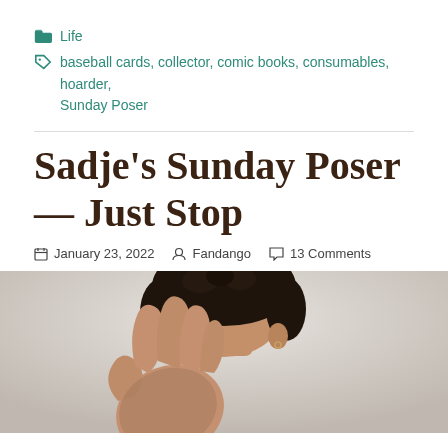Life
baseball cards, collector, comic books, consumables, hoarder, Sunday Poser
Sadje's Sunday Poser — Just Stop
January 23, 2022  Fandango  13 Comments
[Figure (photo): Close-up photo of a person making a stop or snapping gesture with their hand, dark curly hair visible, light grey background]